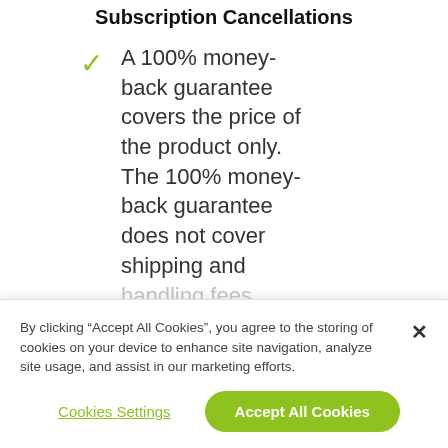Subscription Cancellations
A 100% money-back guarantee covers the price of the product only. The 100% money-back guarantee does not cover shipping and handling fees.
By clicking “Accept All Cookies”, you agree to the storing of cookies on your device to enhance site navigation, analyze site usage, and assist in our marketing efforts.
Cookies Settings
Accept All Cookies